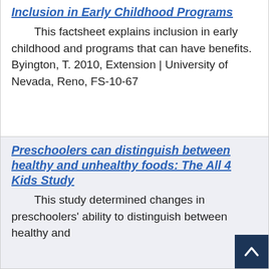Inclusion in Early Childhood Programs
This factsheet explains inclusion in early childhood and programs that can have benefits. Byington, T. 2010, Extension | University of Nevada, Reno, FS-10-67
Preschoolers can distinguish between healthy and unhealthy foods: The All 4 Kids Study
This study determined changes in preschoolers' ability to distinguish between healthy and